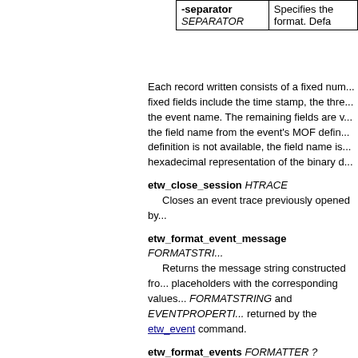| -separator SEPARATOR | Specifies the... format. Defa... |
| --- | --- |
| -separator
SEPARATOR | Specifies the... format. Defa... |
Each record written consists of a fixed num... fixed fields include the time stamp, the thre... the event name. The remaining fields are v... the field name from the event's MOF defin... definition is not available, the field name is... hexadecimal representation of the binary d...
etw_close_session HTRACE
Closes an event trace previously opened by...
etw_format_event_message FORMATSTRI...
Returns the message string constructed fro... placeholders with the corresponding values... FORMATSTRING and EVENTPROPERTI... returned by the etw_event command.
etw_format_events FORMATTER ?BUFDE...
Processes the list of raw ETW events and r... BUFDESC and EVENTLIST are the event b... event buffer as returned by etw_process_e... command.
FORMATTER should be the handle to a fo...